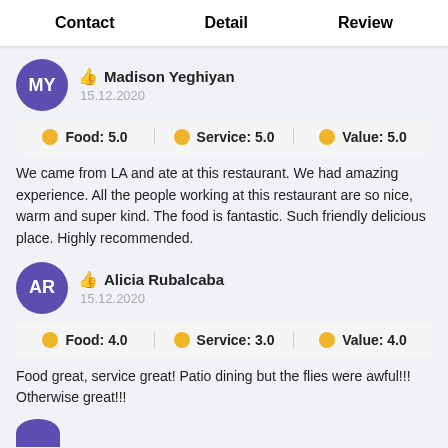Contact   Detail   Review
Madison Yeghiyan
15.12.2020
Food: 5.0   Service: 5.0   Value: 5.0
We came from LA and ate at this restaurant. We had amazing experience. All the people working at this restaurant are so nice, warm and super kind. The food is fantastic. Such friendly delicious place. Highly recommended.
Alicia Rubalcaba
15.12.2020
Food: 4.0   Service: 3.0   Value: 4.0
Food great, service great! Patio dining but the flies were awful!!! Otherwise great!!!